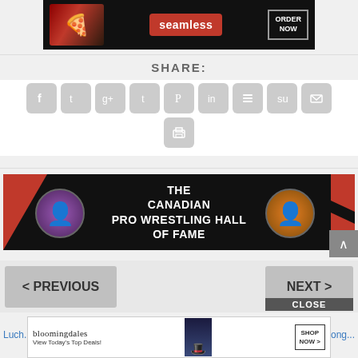[Figure (screenshot): Seamless food delivery advertisement banner with pizza image, red Seamless logo, and ORDER NOW button]
SHARE:
[Figure (infographic): Social media share buttons row: Facebook, Twitter, Google+, Tumblr, Pinterest, LinkedIn, Buffer, StumbleUpon, Email, Print icons]
[Figure (screenshot): The Canadian Pro Wrestling Hall of Fame banner with two wrestler circular portraits on black and red background]
< PREVIOUS
NEXT >
CLOSE
[Figure (screenshot): Bloomingdale's advertisement: View Today's Top Deals! with SHOP NOW button and woman with hat image]
Luch... and Porb... Long...